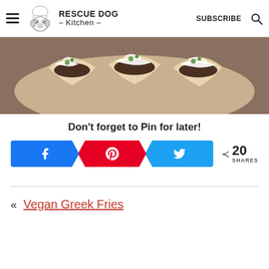Rescue Dog Kitchen — SUBSCRIBE
[Figure (photo): Close-up photo of food tacos/wraps with white sauce and green garnish on a plate]
Don't forget to Pin for later!
[Figure (infographic): Social share buttons: Facebook, Pinterest, Twitter, with share count of 20 SHARES]
« Vegan Greek Fries